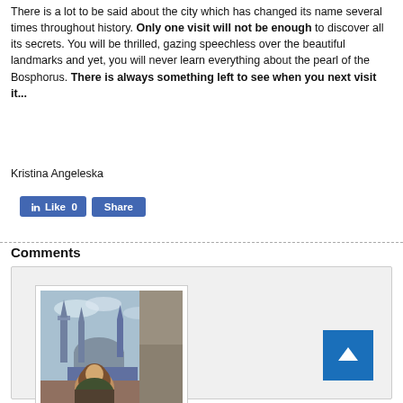There is a lot to be said about the city which has changed its name several times throughout history. Only one visit will not be enough to discover all its secrets. You will be thrilled, gazing speechless over the beautiful landmarks and yet, you will never learn everything about the pearl of the Bosphorus. There is always something left to see when you next visit it...
Kristina Angeleska
[Figure (other): Facebook Like (0) and Share buttons]
Comments
[Figure (photo): Photo of a woman with a mosque (Blue Mosque Istanbul) in the background, displayed inside a white-bordered frame within the comments section]
[Figure (other): Blue square button with white upward arrow (back to top)]